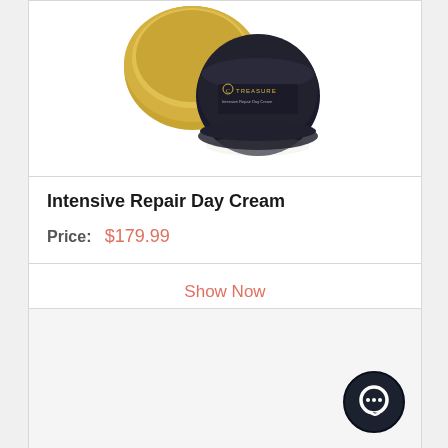[Figure (photo): Product photo of C Treasure Intensive Repair Day Cream — a black cosmetic jar with gold lid]
Intensive Repair Day Cream
Price:  $179.99
Show Now
[Figure (screenshot): Bottom of a second product card with a dark circular chat/messenger icon in the lower right corner]